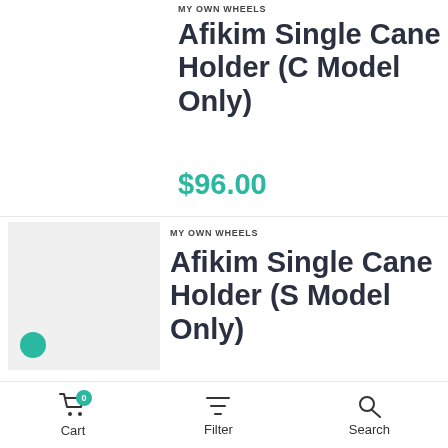MY OWN WHEELS
Afikim Single Cane Holder (C Model Only)
$96.00
[Figure (photo): Light gray square product image placeholder with teal circular icon at bottom left]
MY OWN WHEELS
Afikim Single Cane Holder (S Model Only)
Cart  Filter  Search